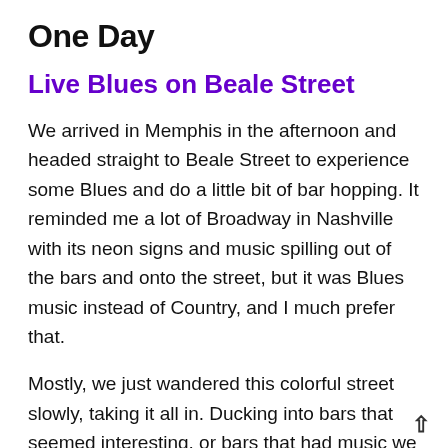One Day
Live Blues on Beale Street
We arrived in Memphis in the afternoon and headed straight to Beale Street to experience some Blues and do a little bit of bar hopping. It reminded me a lot of Broadway in Nashville with its neon signs and music spilling out of the bars and onto the street, but it was Blues music instead of Country, and I much prefer that.
Mostly, we just wandered this colorful street slowly, taking it all in. Ducking into bars that seemed interesting, or bars that had music we liked the sound of. We each had a nice couple of